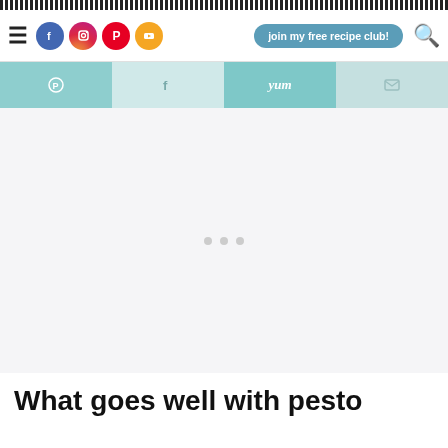[Figure (screenshot): Navigation bar with hamburger menu, social media icons (Facebook, Instagram, Pinterest, YouTube), 'join my free recipe club!' button, and search icon]
[Figure (screenshot): Share bar with Pinterest, Facebook, Yummly, and email share buttons in teal/light teal colors]
[Figure (other): Advertisement placeholder area with three gray dots indicating loading ad content]
What goes well with pesto